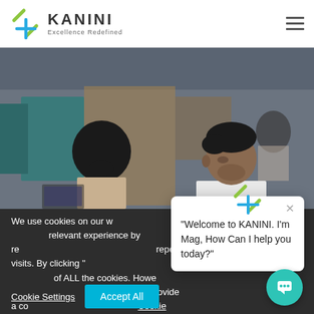[Figure (logo): Kanini logo with green/blue cross symbol and text 'KANINI Excellence Redefined']
[Figure (photo): Two people in a modern office workspace, man and woman seated at workstations, blurred background]
We use cookies on our w... relevant experience by re... repeat visits. By clicking "... of ALL the cookies. Howe... Settings" to provide a co... Cookie Policy
"Welcome to KANINI. I'm Mag, How Can I help you today?"
Cookie Settings
Accept All